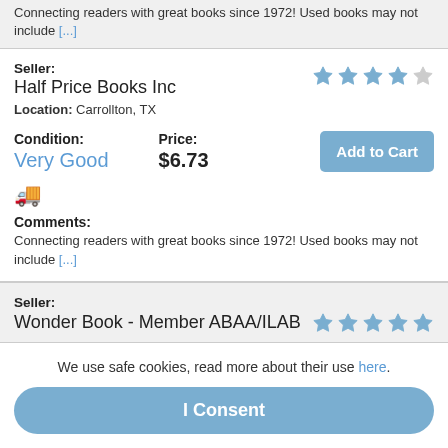Connecting readers with great books since 1972! Used books may not include [...]
Seller: Half Price Books Inc
Location: Carrollton, TX
Condition: Very Good
Price: $6.73
Comments: Connecting readers with great books since 1972! Used books may not include [...]
Seller: Wonder Book - Member ABAA/ILAB
We use safe cookies, read more about their use here.